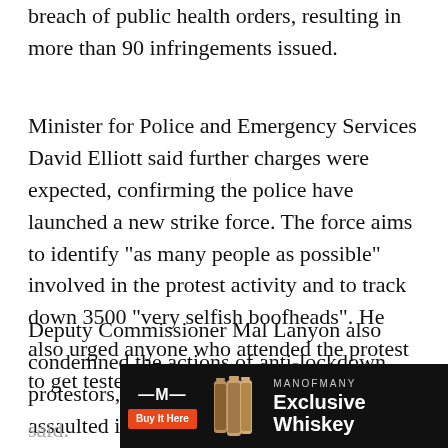breach of public health orders, resulting in more than 90 infringements issued.
Minister for Police and Emergency Services David Elliott said further charges were expected, confirming the police have launched a new strike force. The force aims to identify “as many people as possible” involved in the protest activity and to track down 3500 “very selfish boofheads”. He also urged anyone who attended the protest to get tested for COVID-19.
Deputy Commissioner Mal Lanyon also condemned the actions of anti-lockdown protestors, citing reports that police were assaulted in the event. “Anyone who thinks they can get away with the types of actions we saw will be chased by the law to the full extent of the law” he said.
[Figure (other): Advertisement banner for ManOfMany Exclusive Whiskey with a Buy It Here button, whiskey bottle illustrations, and branding on black background]